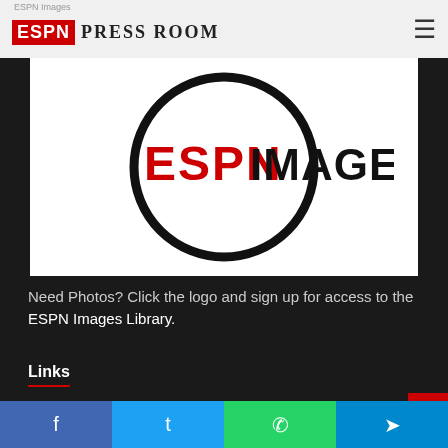ESPN Images | ESPN Press Room
[Figure (logo): ESPN Images logo: circular ring outline with ESPN in red bold letters and IMAGES in black bold letters inside]
Need Photos? Click the logo and sign up for access to the ESPN Images Library.
Links
Get Daily Press Room Updates